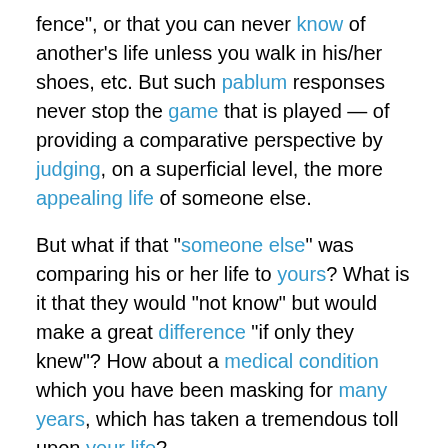fence", or that you can never know of another’s life unless you walk in his/her shoes, etc.  But such pablum responses never stop the game that is played — of providing a comparative perspective by judging, on a superficial level, the more appealing life of someone else.
But what if that “someone else” was comparing his or her life to yours?  What is it that they would “not know” but would make a great difference “if only they knew”?  How about a medical condition which you have been masking for many years, which has taken a tremendous toll upon your life?
Indeed, that is often how Federal and Postal workers continue to work despite a medical condition slowly and incrementally destroying the health and well-being of a